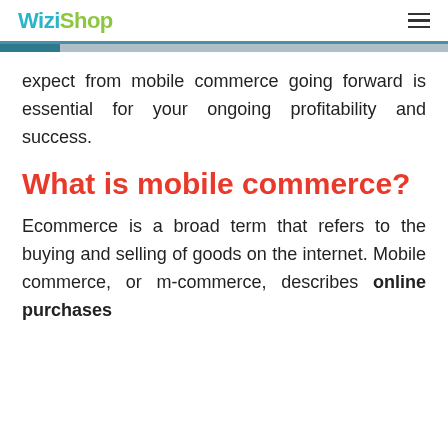WiziShop
expect from mobile commerce going forward is essential for your ongoing profitability and success.
What is mobile commerce?
Ecommerce is a broad term that refers to the buying and selling of goods on the internet. Mobile commerce, or m-commerce, describes online purchases